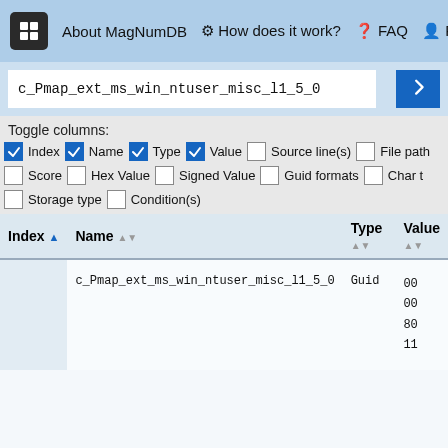About MagNumDB   How does it work?   FAQ   Priv
c_Pmap_ext_ms_win_ntuser_misc_l1_5_0
Toggle columns:
Index  Name  Type  Value  Source line(s)  File path
Score  Hex Value  Signed Value  Guid formats  Char t
Storage type  Condition(s)
| Index | Name | Type | Value |
| --- | --- | --- | --- |
|  | c_Pmap_ext_ms_win_ntuser_misc_l1_5_0 | Guid | 00
00
80
11 |